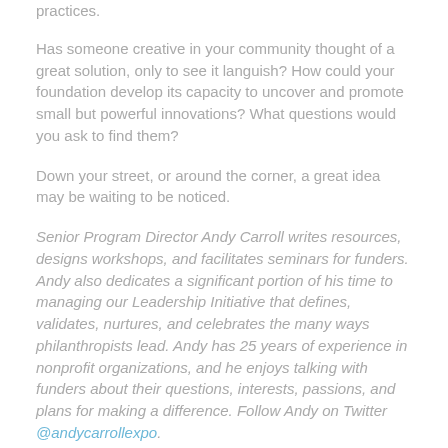practices.
Has someone creative in your community thought of a great solution, only to see it languish? How could your foundation develop its capacity to uncover and promote small but powerful innovations? What questions would you ask to find them?
Down your street, or around the corner, a great idea may be waiting to be noticed.
Senior Program Director Andy Carroll writes resources, designs workshops, and facilitates seminars for funders. Andy also dedicates a significant portion of his time to managing our Leadership Initiative that defines, validates, nurtures, and celebrates the many ways philanthropists lead. Andy has 25 years of experience in nonprofit organizations, and he enjoys talking with funders about their questions, interests, passions, and plans for making a difference. Follow Andy on Twitter @andycarrollexpo.